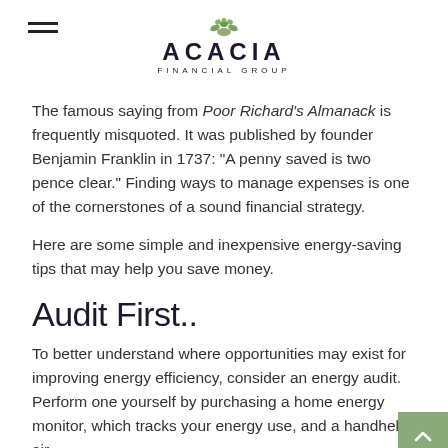ACACIA FINANCIAL GROUP
The famous saying from Poor Richard's Almanack is frequently misquoted. It was published by founder Benjamin Franklin in 1737: “A penny saved is two pence clear.” Finding ways to manage expenses is one of the cornerstones of a sound financial strategy.
Here are some simple and inexpensive energy-saving tips that may help you save money.
Audit First..
To better understand where opportunities may exist for improving energy efficiency, consider an energy audit. Perform one yourself by purchasing a home energy monitor, which tracks your energy use, and a handheld air